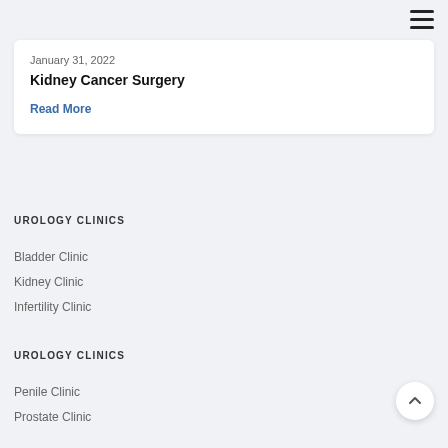≡
January 31, 2022
Kidney Cancer Surgery
Read More
UROLOGY CLINICS
Bladder Clinic
Kidney Clinic
Infertility Clinic
UROLOGY CLINICS
Penile Clinic
Prostate Clinic